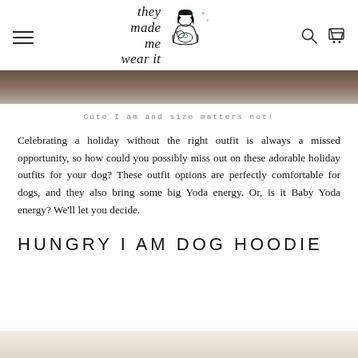they made me wear it — logo and navigation header
[Figure (photo): Cropped photo strip showing a brown/taupe blurred background, partial top of page image]
Cute I am and size matters not!
Celebrating a holiday without the right outfit is always a missed opportunity, so how could you possibly miss out on these adorable holiday outfits for your dog? These outfit options are perfectly comfortable for dogs, and they also bring some big Yoda energy. Or, is it Baby Yoda energy? We'll let you decide.
HUNGRY I AM DOG HOODIE
[Figure (photo): Partial bottom image of product photo, light beige background]